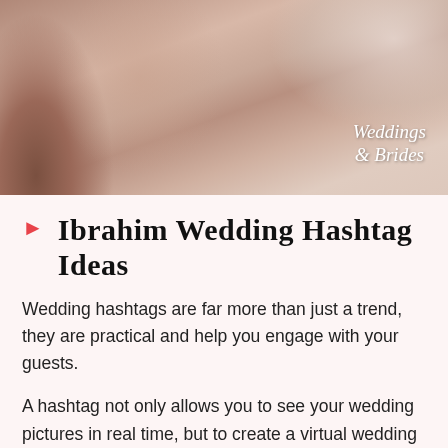[Figure (photo): Wedding photo banner showing a bride or wedding scene with 'Weddings & Brides' watermark text in the top right corner]
Ibrahim Wedding Hashtag Ideas
Wedding hashtags are far more than just a trend, they are practical and help you engage with your guests.
A hashtag not only allows you to see your wedding pictures in real time, but to create a virtual wedding album available to all of your guests.